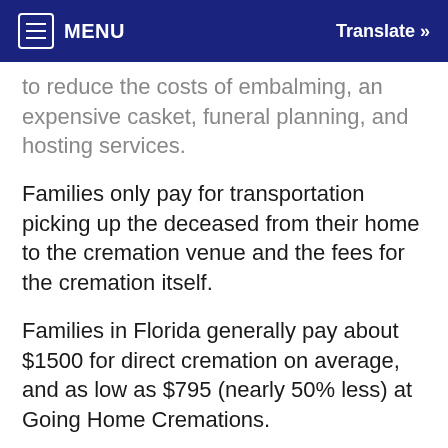≡ MENU   Translate »
to reduce the costs of embalming, an expensive casket, funeral planning, and hosting services.
Families only pay for transportation picking up the deceased from their home to the cremation venue and the fees for the cremation itself.
Families in Florida generally pay about $1500 for direct cremation on average, and as low as $795 (nearly 50% less) at Going Home Cremations.